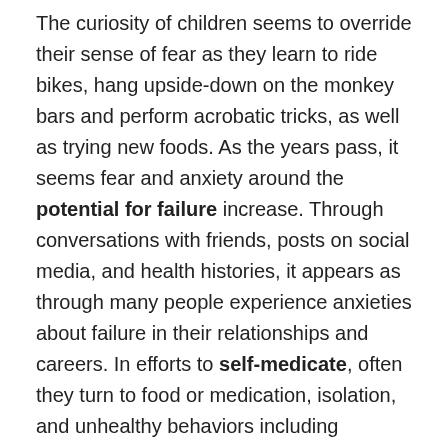The curiosity of children seems to override their sense of fear as they learn to ride bikes, hang upside-down on the monkey bars and perform acrobatic tricks, as well as trying new foods. As the years pass, it seems fear and anxiety around the potential for failure increase. Through conversations with friends, posts on social media, and health histories, it appears as through many people experience anxieties about failure in their relationships and careers. In efforts to self-medicate, often they turn to food or medication, isolation, and unhealthy behaviors including addiction. Self-sabotage, perfectionism, low self-confidence, reluctance to try new unfamiliar activities are also symptoms of fear of failure.
So when the sick brick of gooey, black feeling of fear settles into the stomach, and anxiety increases the heart